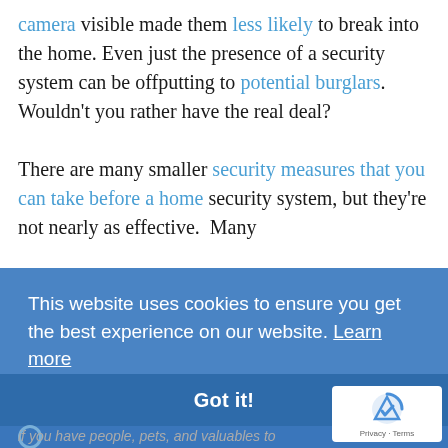camera visible made them less likely to break into the home. Even just the presence of a security system can be offputting to potential burglars. Wouldn't you rather have the real deal?

There are many smaller security measures that you can take before a home security system, but they're not nearly as effective.  Many
[Figure (screenshot): Cookie consent banner overlay with blue background. Text reads: 'This website uses cookies to ensure you get the best experience on our website. Learn more' with a dark blue 'Got it!' button bar below. A reCAPTCHA badge appears in the bottom right corner. A partial sentence 'if you have people, pets, and valuables to' appears at the very bottom in light gray italic text.]